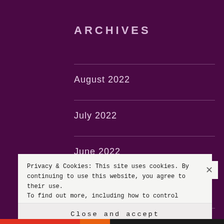ARCHIVES
August 2022
July 2022
June 2022
May 2022
April 2022
Privacy & Cookies: This site uses cookies. By continuing to use this website, you agree to their use.
To find out more, including how to control cookies, see here: Cookie Policy
Close and accept